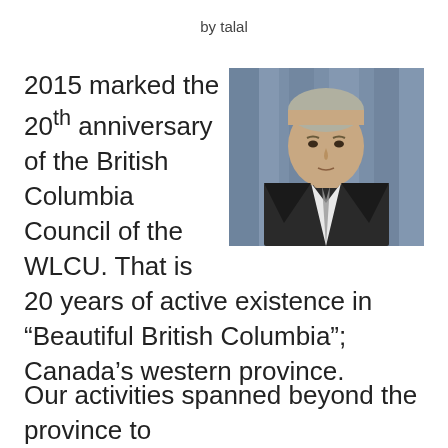by talal
[Figure (photo): Portrait photo of a middle-aged man in a dark suit and tie, with a blue curtain background]
2015 marked the 20th anniversary of the British Columbia Council of the WLCU. That is 20 years of active existence in “Beautiful British Columbia”; Canada’s western province.
Our activities spanned beyond the province to